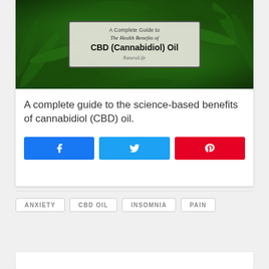[Figure (illustration): Book cover image showing cannabis leaves background with a title box reading: A Complete Guide to / The Health Benefits of / CBD (Cannabidiol) Oil / NaturaLife]
A complete guide to the science-based benefits of cannabidiol (CBD) oil.
[Figure (other): Three social share buttons: Facebook (blue), Twitter (light blue), Pinterest (red)]
ANXIETY
CBD OIL
INSOMNIA
PAIN